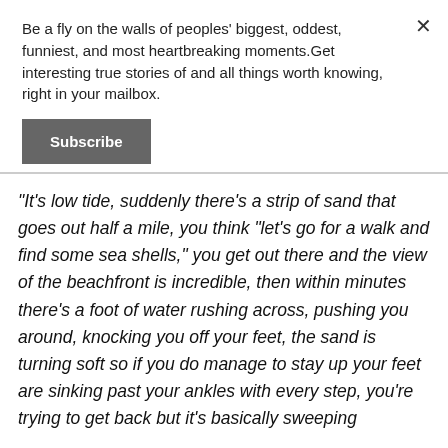Be a fly on the walls of peoples' biggest, oddest, funniest, and most heartbreaking moments.Get interesting true stories of and all things worth knowing, right in your mailbox.
Subscribe
"It's low tide, suddenly there's a strip of sand that goes out half a mile, you think "let's go for a walk and find some sea shells," you get out there and the view of the beachfront is incredible, then within minutes there's a foot of water rushing across, pushing you around, knocking you off your feet, the sand is turning soft so if you do manage to stay up your feet are sinking past your ankles with every step, you're trying to get back but it's basically sweeping